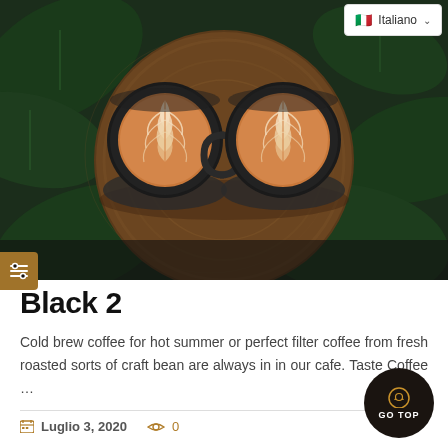[Figure (photo): Overhead view of two latte art coffees in dark cups on a rustic wooden tray surrounded by tropical green leaves]
Black 2
Cold brew coffee for hot summer or perfect filter coffee from fresh roasted sorts of craft bean are always in in our cafe. Taste Coffee …
Luglio 3, 2020   0